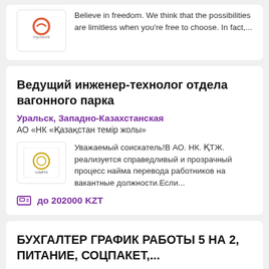Believe in freedom. We think that the possibilities are limitless when you're free to choose. In fact,...
Ведущий инженер-технолог отдела вагонного парка
Уральск, Западно-Казахстанская
АО «НК «Қазақстан темір жолы»
Уважаемый соискатель!В АО. НК. ҚТЖ. реализуется справедливый и прозрачный процесс найма перевода работников на вакантные должности.Если...
до 202000 KZT
БУХГАЛТЕР ГРАФИК РАБОТЫ 5 НА 2, ПИТАНИЕ, СОЦПАКЕТ,...
Уральск, Западно-Казахстанская
РЦ Галактика
БУХГАЛТЕР. ГРАФИК РАБОТЫ 5 НА 2, ПИТАНИЕ,